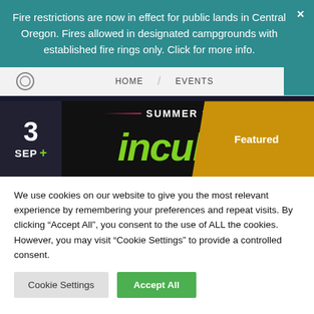Fire restrictions are now in effect for public lands in Central Oregon. Fires allowed in designated campgrounds with established fire rings only. Click for more info.
HOME / EVENTS
[Figure (screenshot): Event card showing SUMMER 2022 banner with date 3 SEP, Incubus band name in green italic letters, and a gold Featured badge on the right]
We use cookies on our website to give you the most relevant experience by remembering your preferences and repeat visits. By clicking “Accept All”, you consent to the use of ALL the cookies. However, you may visit “Cookie Settings” to provide a controlled consent.
Cookie Settings
Accept All